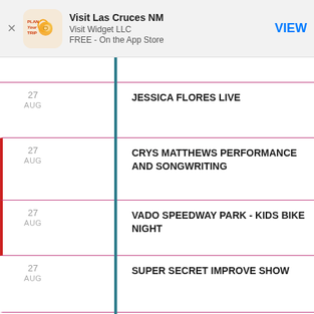[Figure (screenshot): App Store banner for 'Visit Las Cruces NM' by Visit Widget LLC, FREE on the App Store, with a VIEW button]
27 AUG — JESSICA FLORES LIVE
27 AUG — CRYS MATTHEWS PERFORMANCE AND SONGWRITING
27 AUG — VADO SPEEDWAY PARK - KIDS BIKE NIGHT
27 AUG — SUPER SECRET IMPROVE SHOW
27 AUG — NMSU FOOTBALL VS. NEVADA